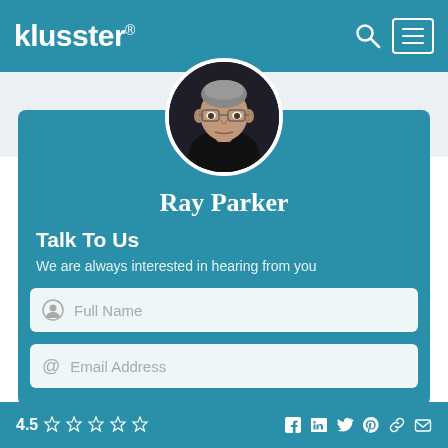klusster®
[Figure (photo): Circular profile photo of Ray Parker, a middle-aged man with glasses]
Ray Parker
Talk To Us
We are always interested in hearing from you
Full Name
Email Address
4.5 ☆☆☆☆☆  (social icons: Facebook, LinkedIn, Twitter, Pinterest, Link, Email)